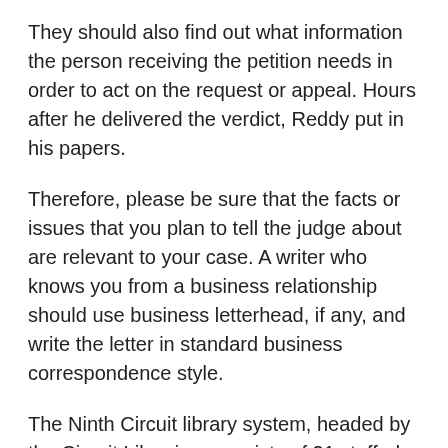They should also find out what information the person receiving the petition needs in order to act on the request or appeal. Hours after he delivered the verdict, Reddy put in his papers.
Therefore, please be sure that the facts or issues that you plan to tell the judge about are relevant to your case. A writer who knows you from a business relationship should use business letterhead, if any, and write the letter in standard business correspondence style.
The Ninth Circuit library system, headed by the Circuit Librarian, consists of 21 staffed libraries including the headquarters library and 20 branch libraries located throughout the Circuit.
References First District Appellate: Preference will be given